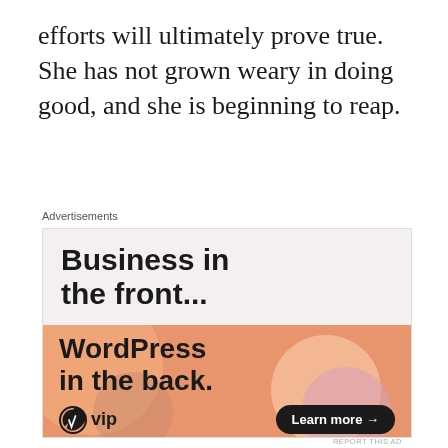efforts will ultimately prove true. She has not grown weary in doing good, and she is beginning to reap.
Advertisements
[Figure (other): WordPress VIP advertisement banner. Top half has light pinkish-beige background with bold text 'Business in the front...'. Bottom half has orange gradient background with decorative blobs and bold text 'WordPress in the back.' with a WordPress VIP logo and a 'Learn more →' button.]